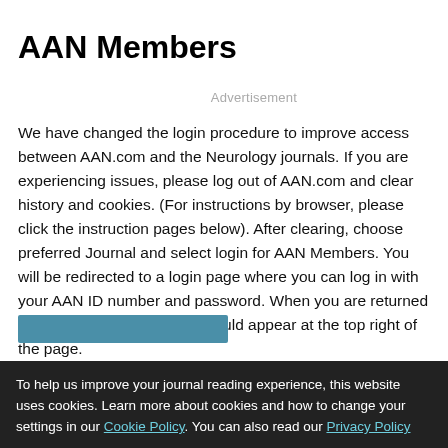AAN Members
Advertisement
We have changed the login procedure to improve access between AAN.com and the Neurology journals. If you are experiencing issues, please log out of AAN.com and clear history and cookies. (For instructions by browser, please click the instruction pages below). After clearing, choose preferred Journal and select login for AAN Members. You will be redirected to a login page where you can log in with your AAN ID number and password. When you are returned to the Journal, your name should appear at the top right of the page.
Google Safari Microsoft Edge Firefox
To help us improve your journal reading experience, this website uses cookies. Learn more about cookies and how to change your settings in our Cookie Policy. You can also read our Privacy Policy